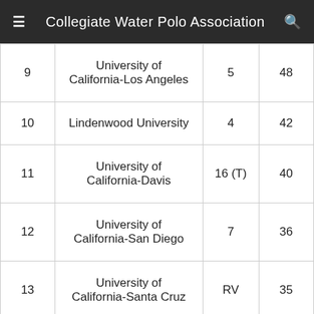Collegiate Water Polo Association
| Rank | School | Previous | Points |
| --- | --- | --- | --- |
| 9 | University of California-Los Angeles | 5 | 48 |
| 10 | Lindenwood University | 4 | 42 |
| 11 | University of California-Davis | 16 (T) | 40 |
| 12 | University of California-San Diego | 7 | 36 |
| 13 | University of California-Santa Cruz | RV | 35 |
| 14 | University of Utah | RV | 33 |